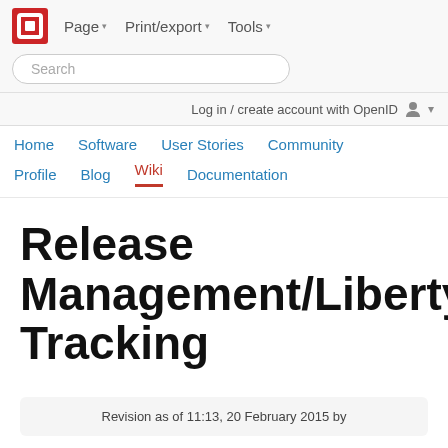Page ▾   Print/export ▾   Tools ▾
Search
Log in / create account with OpenID
Home   Software   User Stories   Community   Profile   Blog   Wiki   Documentation
Release Management/Liberty Tracking
Revision as of 11:13, 20 February 2015 by